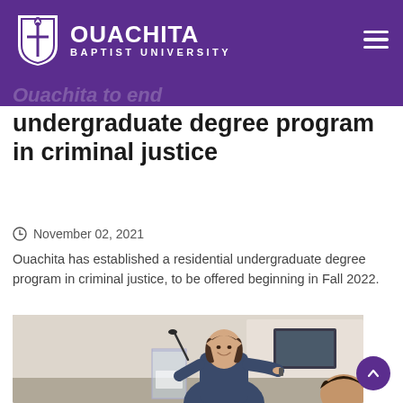OUACHITA BAPTIST UNIVERSITY
undergraduate degree program in criminal justice
November 02, 2021
Ouachita has established a residential undergraduate degree program in criminal justice, to be offered beginning in Fall 2022.
[Figure (photo): A woman in a blue shirt stands at a clear podium with a microphone, smiling and holding a presentation remote, with a laptop and audience visible in the background.]